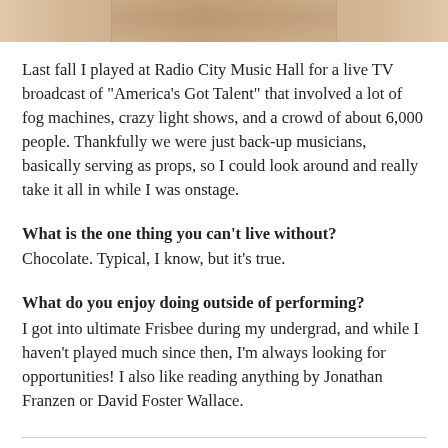[Figure (photo): Partial photo visible at top of page, showing what appears to be a wooden floor surface with an animal (possibly a cat's paw), cropped to just the bottom portion.]
Last fall I played at Radio City Music Hall for a live TV broadcast of "America's Got Talent" that involved a lot of fog machines, crazy light shows, and a crowd of about 6,000 people. Thankfully we were just back-up musicians, basically serving as props, so I could look around and really take it all in while I was onstage.
What is the one thing you can't live without?
Chocolate. Typical, I know, but it's true.
What do you enjoy doing outside of performing?
I got into ultimate Frisbee during my undergrad, and while I haven't played much since then, I'm always looking for opportunities! I also like reading anything by Jonathan Franzen or David Foster Wallace.